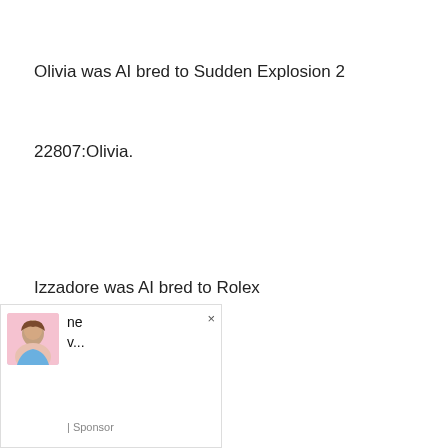Olivia was AI bred to Sudden Explosion 2
22807:Olivia.
Izzadore was AI bred to Rolex
22808:Izzadore.
[Figure (other): Advertisement overlay with avatar image, text 'ne v...' and '| Sponsor' label, with a close (×) button]